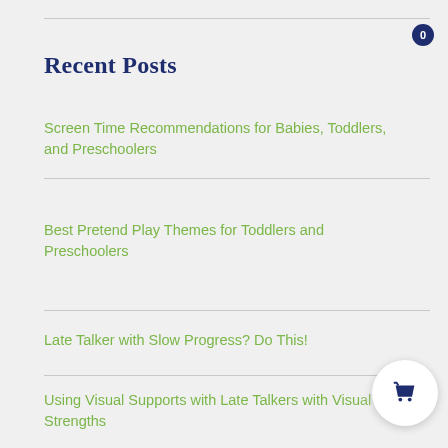Recent Posts
Screen Time Recommendations for Babies, Toddlers, and Preschoolers
Best Pretend Play Themes for Toddlers and Preschoolers
Late Talker with Slow Progress? Do This!
Using Visual Supports with Late Talkers with Visual Strengths